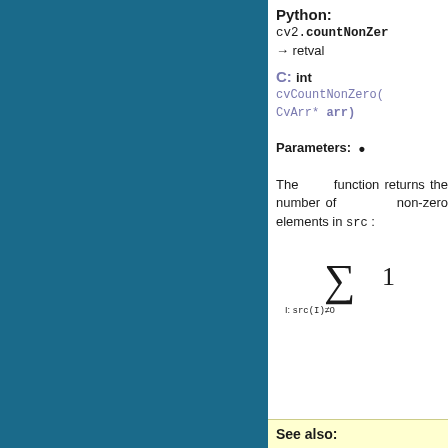Python:
cv2.countNonZer→ retval
C: int cvCountNonZero( CvArr* arr)
Parameters: •
The function returns the number of non-zero elements in src :
See also: